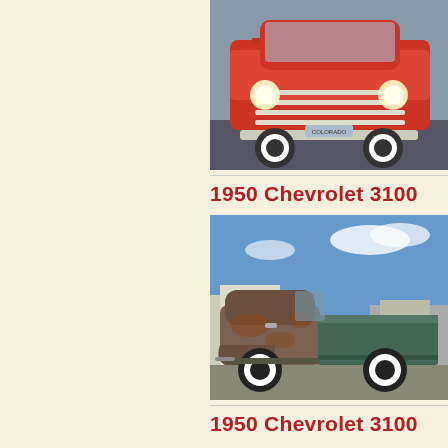[Figure (photo): Front view of a red 1950s Chevrolet truck (pickup) with chrome grille and white wall tires, photographed in a parking lot]
1950 Chevrolet 3100
[Figure (photo): Side view of a rusty/patina 1950 Chevrolet 3100 pickup truck parked outdoors, with a blue sky background and warehouse buildings]
1950 Chevrolet 3100